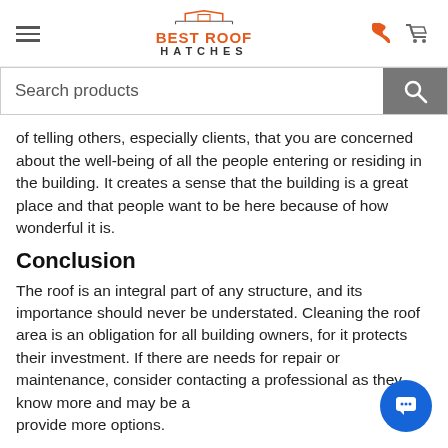BEST ROOF HATCHES
of telling others, especially clients, that you are concerned about the well-being of all the people entering or residing in the building. It creates a sense that the building is a great place and that people want to be here because of how wonderful it is.
Conclusion
The roof is an integral part of any structure, and its importance should never be understated. Cleaning the roof area is an obligation for all building owners, for it protects their investment. If there are needs for repair or maintenance, consider contacting a professional as they know more and may be able to provide more options.